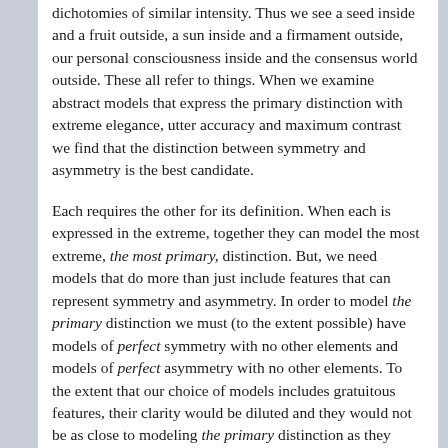dichotomies of similar intensity. Thus we see a seed inside and a fruit outside, a sun inside and a firmament outside, our personal consciousness inside and the consensus world outside. These all refer to things. When we examine abstract models that express the primary distinction with extreme elegance, utter accuracy and maximum contrast we find that the distinction between symmetry and asymmetry is the best candidate.
Each requires the other for its definition. When each is expressed in the extreme, together they can model the most extreme, the most primary, distinction. But, we need models that do more than just include features that can represent symmetry and asymmetry. In order to model the primary distinction we must (to the extent possible) have models of perfect symmetry with no other elements and models of perfect asymmetry with no other elements. To the extent that our choice of models includes gratuitous features, their clarity would be diluted and they would not be as close to modeling the primary distinction as they could be if they did not include features that diluted their elegance.
How are we to test if our models are as elegant and unambiguous as is possible? Since they are intended to be